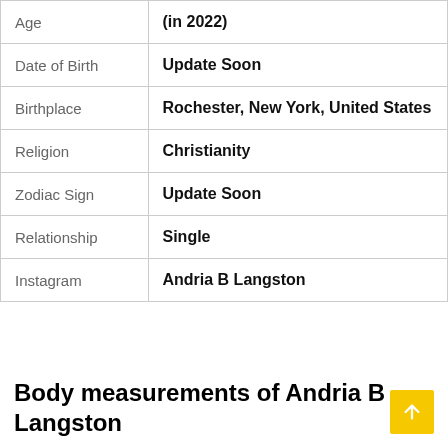| Field | Value |
| --- | --- |
| Age | (in 2022) |
| Date of Birth | Update Soon |
| Birthplace | Rochester, New York, United States |
| Religion | Christianity |
| Zodiac Sign | Update Soon |
| Relationship | Single |
| Instagram | Andria B Langston |
Body measurements of Andria B Langston